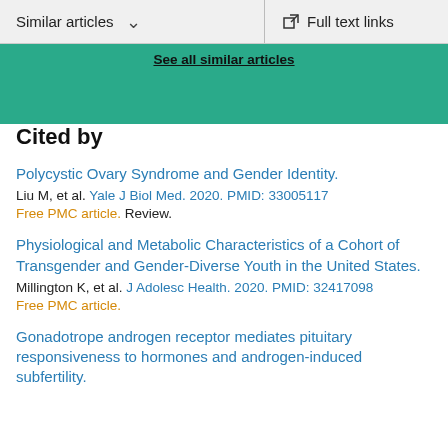Similar articles   ∨    Full text links
See all similar articles
Cited by
Polycystic Ovary Syndrome and Gender Identity.
Liu M, et al. Yale J Biol Med. 2020. PMID: 33005117
Free PMC article. Review.
Physiological and Metabolic Characteristics of a Cohort of Transgender and Gender-Diverse Youth in the United States.
Millington K, et al. J Adolesc Health. 2020. PMID: 32417098
Free PMC article.
Gonadotrope androgen receptor mediates pituitary responsiveness to hormones and androgen-induced subfertility.